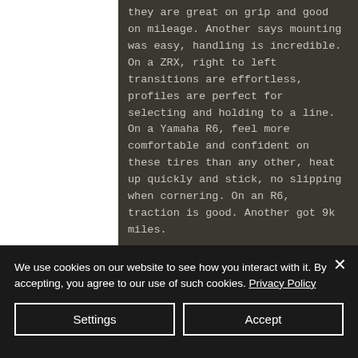they are great on grip and good on mileage. Another says mounting was easy, handling is incredible. On a ZRX, right to left transitions are effortless, profiles are perfect for selecting and holding to a line. On a Yamaha R6, feel more comfortable and confident on these tires than any other, heat up quickly and stick, no slipping when cornering. On an R6, traction is good. Another got 9k miles.
www.bikebandit.com
133 ratings / 8 of 5 stars. Considered
We use cookies on our website to see how you interact with it. By accepting, you agree to our use of such cookies. Privacy Policy
Settings
Accept